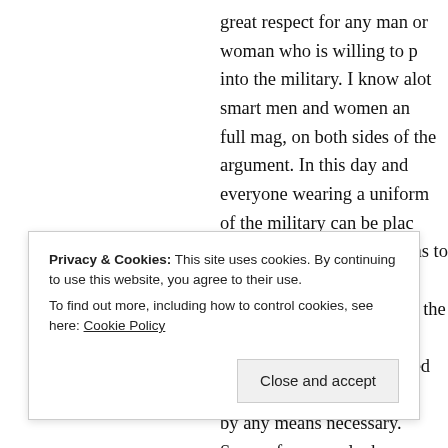great respect for any man or woman who is willing to p into the military. I know alot smart men and women an full mag, on both sides of the argument. In this day and everyone wearing a uniform of the military can be plac way. So yes everyone learns to some degree the same t arms MOS's. In Iraq ( with the National Guard) I can o had escort services provided to us. The rest of the time by any means necessary. Some of us were lucky enoug gun mounts, but most of it was just stuff we could rig u spent sitting on top of a PLS behind my M2 50 Cal ma Target). We had a few fire fights and a few IED's. I ren same PLS because we may not see base camp for a mo none existent unless you got lucky and a unit took pity jo D
Privacy & Cookies: This site uses cookies. By continuing to use this website, you agree to their use.
To find out more, including how to control cookies, see here: Cookie Policy
Close and accept